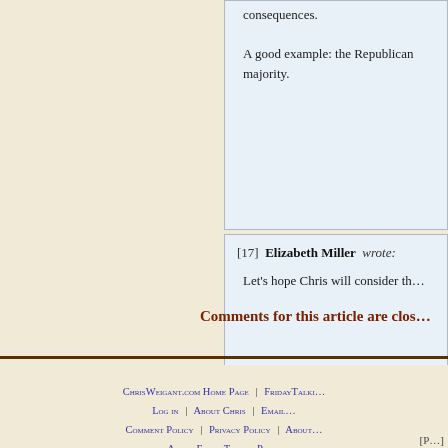consequences. A good example: the Republican majority.
[17]  Elizabeth Miller  wrote: Let's hope Chris will consider th...
Comments for this article are clos...
ChrisWeigant.com Home Page | FridayTalki... | Log in | About Chris | Email... | Comment Policy | Privacy Policy | About... | About FridayTalkingPoi... Copyright © A... [P...]